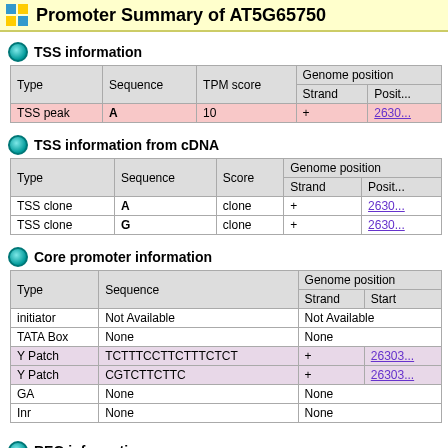Promoter Summary of AT5G65750
TSS information
| Type | Sequence | TPM score | Genome position / Strand | Genome position / Posit... |
| --- | --- | --- | --- | --- |
| TSS peak | A | 10 | + | 2630... |
TSS information from cDNA
| Type | Sequence | Score | Genome position / Strand | Genome position / Posit... |
| --- | --- | --- | --- | --- |
| TSS clone | A | clone | + | 2630... |
| TSS clone | G | clone | + | 2630... |
Core promoter information
| Type | Sequence | Genome position / Strand | Genome position / Start |
| --- | --- | --- | --- |
| initiator | Not Available | Not Available |  |
| TATA Box | None | None |  |
| Y Patch | TCTTTCCTTCTTTCTCT | + | 26303... |
| Y Patch | CGTCTTCTTC | + | 26303... |
| GA | None | None |  |
| Inr | None | None |  |
REG information